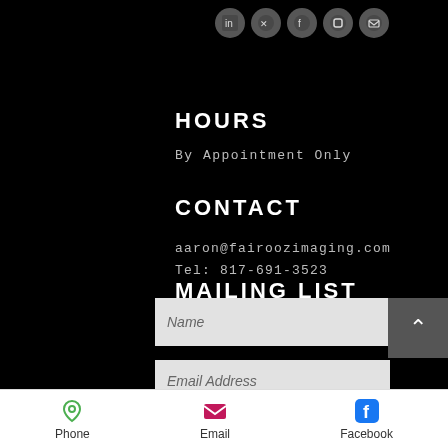[Figure (screenshot): Social media icon buttons (LinkedIn, Twitter, Facebook, Instagram, Email) as circular icons on black background]
HOURS
By Appointment Only
CONTACT
aaron@fairoozimaging.com
Tel: 817-691-3523
MAILING LIST
Name
Email Address
Phone   Email   Facebook